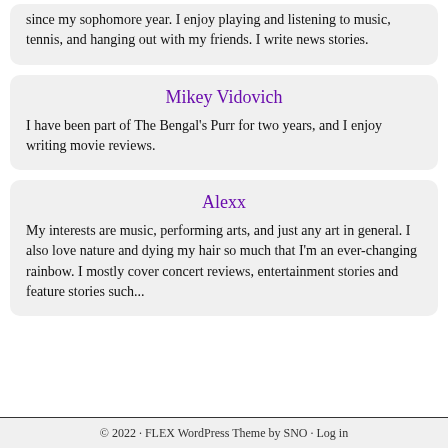since my sophomore year. I enjoy playing and listening to music, tennis, and hanging out with my friends. I write news stories.
Mikey Vidovich
I have been part of The Bengal's Purr for two years, and I enjoy writing movie reviews.
Alexx
My interests are music, performing arts, and just any art in general. I also love nature and dying my hair so much that I'm an ever-changing rainbow. I mostly cover concert reviews, entertainment stories and feature stories such...
© 2022 · FLEX WordPress Theme by SNO · Log in